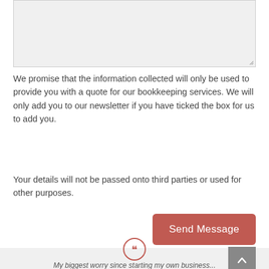[Figure (screenshot): A greyed-out textarea input box with a resize handle in the bottom-right corner]
We promise that the information collected will only be used to provide you with a quote for our bookkeeping services. We will only add you to our newsletter if you have ticked the box for us to add you.
Your details will not be passed onto third parties or used for other purposes.
[Figure (screenshot): A red/rose-colored 'Send Message' button]
[Figure (screenshot): A circular quote icon (double closing quotation marks) in red outline, and a grey scroll-to-top button with a white upward arrow]
My biggest worry since starting my own business...